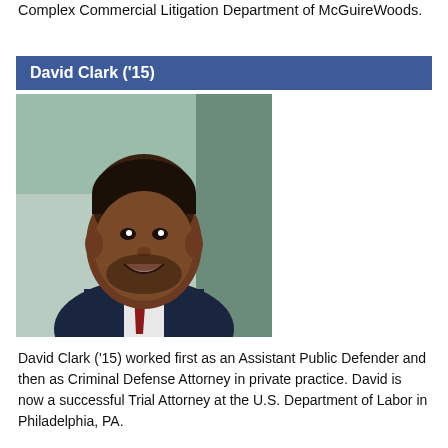Complex Commercial Litigation Department of McGuireWoods.
David Clark ('15)
[Figure (photo): Professional headshot of David Clark, a young man in a dark navy suit with a red tie, smiling, with a blurred outdoor background.]
David Clark ('15) worked first as an Assistant Public Defender and then as Criminal Defense Attorney in private practice. David is now a successful Trial Attorney at the U.S. Department of Labor in Philadelphia, PA.